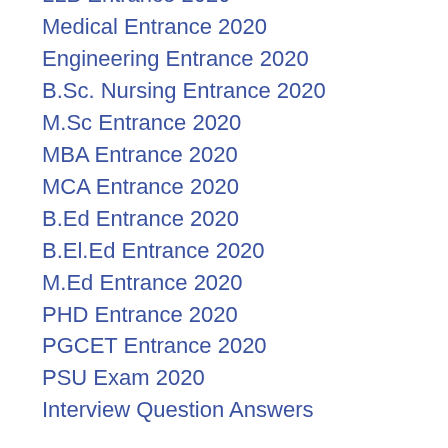LLB Entrance 2020
Medical Entrance 2020
Engineering Entrance 2020
B.Sc. Nursing Entrance 2020
M.Sc Entrance 2020
MBA Entrance 2020
MCA Entrance 2020
B.Ed Entrance 2020
B.El.Ed Entrance 2020
M.Ed Entrance 2020
PHD Entrance 2020
PGCET Entrance 2020
PSU Exam 2020
Interview Question Answers